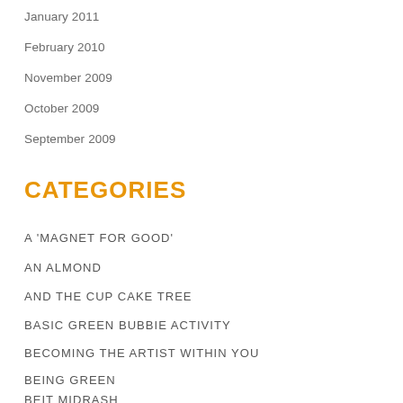January 2011
February 2010
November 2009
October 2009
September 2009
CATEGORIES
A 'MAGNET FOR GOOD'
AN ALMOND
AND THE CUP CAKE TREE
BASIC GREEN BUBBIE ACTIVITY
BECOMING THE ARTIST WITHIN YOU
BEING GREEN
BEIT MIDRASH
BRAND YOURSELF...